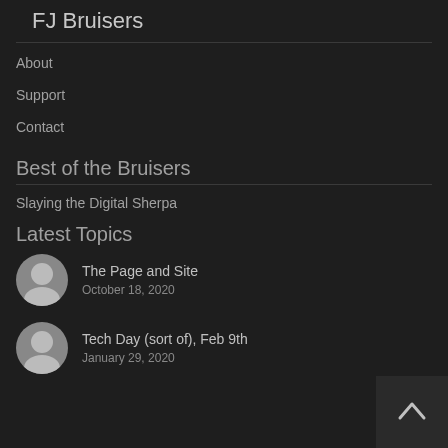FJ Bruisers
About
Support
Contact
Best of the Bruisers
Slaying the Digital Sherpa
Latest Topics
The Page and Site
October 18, 2020
Tech Day (sort of), Feb 9th
January 29, 2020